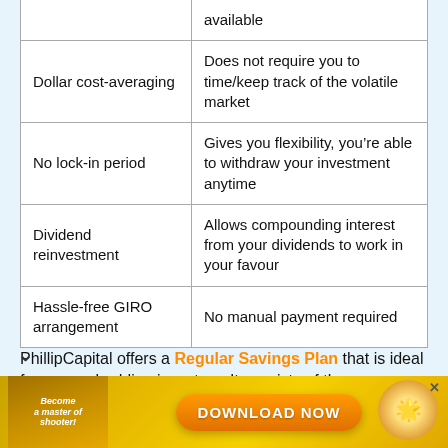| Feature | Benefit |
| --- | --- |
|  | available |
| Dollar cost-averaging | Does not require you to time/keep track of the volatile market |
| No lock-in period | Gives you flexibility, you’re able to withdraw your investment anytime |
| Dividend reinvestment | Allows compounding interest from your dividends to work in your favour |
| Hassle-free GIRO arrangement | No manual payment required |
PhillipCapital offers a Regular Savings Plan that is ideal for new or budding investors. It consists of three